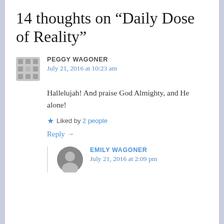14 thoughts on “Daily Dose of Reality”
PEGGY WAGONER
July 21, 2016 at 10:23 am
Hallelujah! And praise God Almighty, and He alone!
Liked by 2 people
Reply →
EMILY WAGONER
July 21, 2016 at 2:09 pm